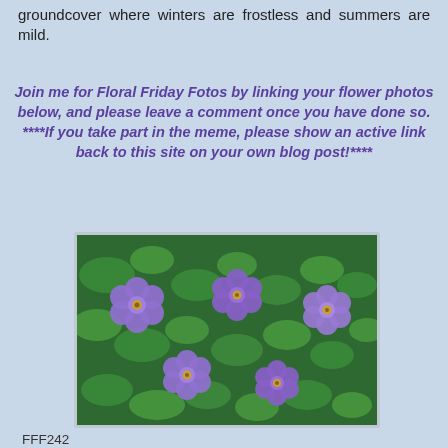groundcover where winters are frostless and summers are mild.
Join me for Floral Friday Fotos by linking your flower photos below, and please leave a comment once you have done so. ****If you take part in the meme, please show an active link back to this site on your own blog post!****
[Figure (photo): Photo of purple flowers (bacopa or similar) with green foliage groundcover]
FFF242
1. STAR MAGNOLIA
15. Floristry Course
29. Sara Chapman, Seattle USA
CRASSULA
SUMMER